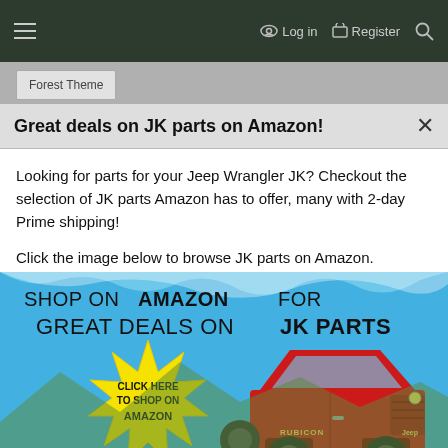≡   🔑 Log in   🛒 Register   🔍
Great deals on JK parts on Amazon!
Looking for parts for your Jeep Wrangler JK? Checkout the selection of JK parts Amazon has to offer, many with 2-day Prime shipping!
Click the image below to browse JK parts on Amazon.
[Figure (infographic): Advertisement banner: 'SHOP ON AMAZON FOR GREAT DEALS ON JK PARTS' with a red Jeep Wrangler Rubicon and a yellow starburst graphic saying 'CLICK HERE TO SHOP ON AMAZON']